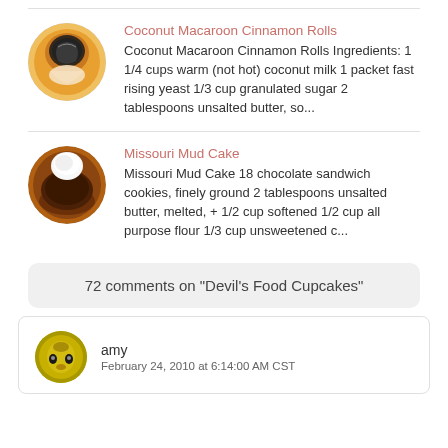Coconut Macaroon Cinnamon Rolls
Coconut Macaroon Cinnamon Rolls Ingredients: 1 1/4 cups warm (not hot) coconut milk 1 packet fast rising yeast 1/3 cup granulated sugar 2 tablespoons unsalted butter, so...
Missouri Mud Cake
Missouri Mud Cake 18 chocolate sandwich cookies, finely ground 2 tablespoons unsalted butter, melted, + 1/2 cup softened 1/2 cup all purpose flour 1/3 cup unsweetened c...
72 comments on "Devil's Food Cupcakes"
amy
February 24, 2010 at 6:14:00 AM CST